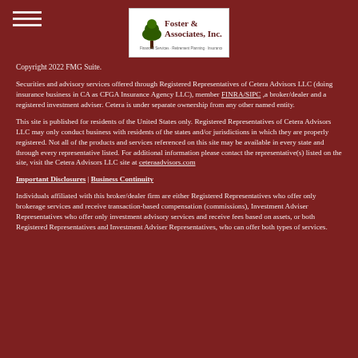[Figure (logo): Foster & Associates, Inc. logo with tree icon and tagline]
Copyright 2022 FMG Suite.
Securities and advisory services offered through Registered Representatives of Cetera Advisors LLC (doing insurance business in CA as CFGA Insurance Agency LLC), member FINRA/SIPC ,a broker/dealer and a registered investment adviser. Cetera is under separate ownership from any other named entity.
This site is published for residents of the United States only. Registered Representatives of Cetera Advisors LLC may only conduct business with residents of the states and/or jurisdictions in which they are properly registered. Not all of the products and services referenced on this site may be available in every state and through every representative listed. For additional information please contact the representative(s) listed on the site, visit the Cetera Advisors LLC site at ceteraadvisors.com
Important Disclosures | Business Continuity
Individuals affiliated with this broker/dealer firm are either Registered Representatives who offer only brokerage services and receive transaction-based compensation (commissions), Investment Adviser Representatives who offer only investment advisory services and receive fees based on assets, or both Registered Representatives and Investment Adviser Representatives, who can offer both types of services.